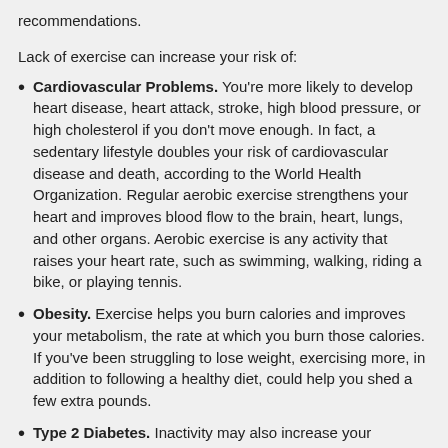recommendations.
Lack of exercise can increase your risk of:
Cardiovascular Problems. You're more likely to develop heart disease, heart attack, stroke, high blood pressure, or high cholesterol if you don't move enough. In fact, a sedentary lifestyle doubles your risk of cardiovascular disease and death, according to the World Health Organization. Regular aerobic exercise strengthens your heart and improves blood flow to the brain, heart, lungs, and other organs. Aerobic exercise is any activity that raises your heart rate, such as swimming, walking, riding a bike, or playing tennis.
Obesity. Exercise helps you burn calories and improves your metabolism, the rate at which you burn those calories. If you've been struggling to lose weight, exercising more, in addition to following a healthy diet, could help you shed a few extra pounds.
Type 2 Diabetes. Inactivity may also increase your likelihood of developing type 2 diabetes, a disease that affects more